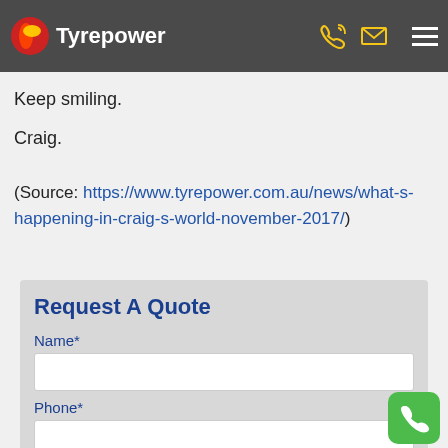Tyrepower
I'll fill you in on how we go at the end of the season.
Keep smiling.
Craig.
(Source: https://www.tyrepower.com.au/news/what-s-happening-in-craig-s-world-november-2017/)
Request A Quote
Name*
Phone*
Email *